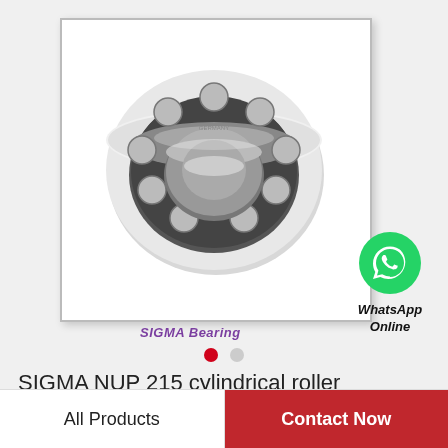[Figure (photo): SIGMA cylindrical roller bearing shown at an angle, with white/grey outer plastic housing ring and exposed internal steel ball/roller elements and inner race. Inside a white bordered box.]
SIGMA Bearing
WhatsApp Online
SIGMA NUP 215 cylindrical roller bearings
All Products
Contact Now